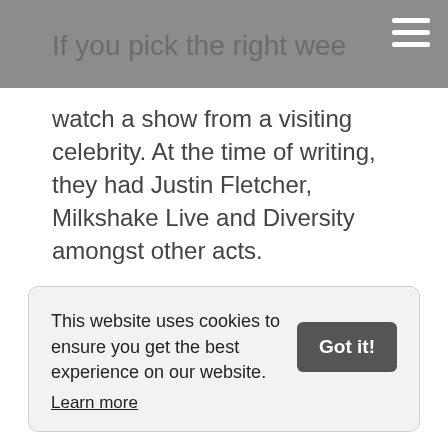If you pick the right week then you'll be able to
watch a show from a visiting celebrity. At the time of writing, they had Justin Fletcher, Milkshake Live and Diversity amongst other acts.
There are also several activities which you can pay extra for such as bowling, minigolf, laser tag and pottery painting.
Much of the entertainment is based in the Skyline, which is visible from across Skegness.
This website uses cookies to ensure you get the best experience on our website. Learn more Got it!